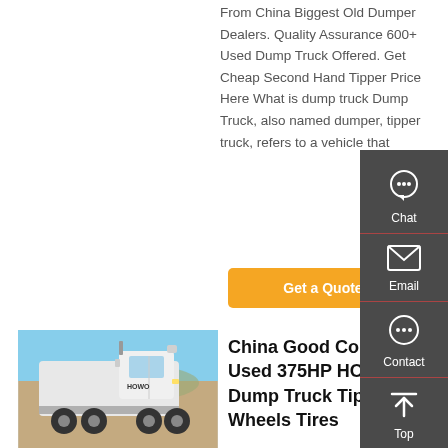From China Biggest Old Dumper Dealers. Quality Assurance 600+ Used Dump Truck Offered. Get Cheap Second Hand Tipper Price Here What is dump truck Dump Truck, also named dumper, tipper truck, refers to a vehicle that
[Figure (other): Orange 'Get a Quote' button]
[Figure (photo): White HOWO truck tractor parked on a dirt area with hills in background]
China Good Condition Used 375HP HOWO Dump Truck Tipping 12 Wheels Tires
[Figure (infographic): Right-side floating sidebar with Chat, Email, Contact, and Top navigation icons on dark gray background]